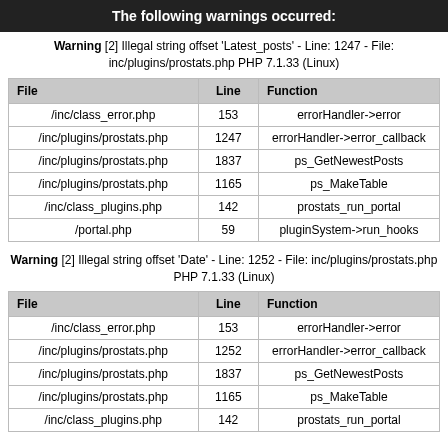The following warnings occurred:
Warning [2] Illegal string offset 'Latest_posts' - Line: 1247 - File: inc/plugins/prostats.php PHP 7.1.33 (Linux)
| File | Line | Function |
| --- | --- | --- |
| /inc/class_error.php | 153 | errorHandler->error |
| /inc/plugins/prostats.php | 1247 | errorHandler->error_callback |
| /inc/plugins/prostats.php | 1837 | ps_GetNewestPosts |
| /inc/plugins/prostats.php | 1165 | ps_MakeTable |
| /inc/class_plugins.php | 142 | prostats_run_portal |
| /portal.php | 59 | pluginSystem->run_hooks |
Warning [2] Illegal string offset 'Date' - Line: 1252 - File: inc/plugins/prostats.php PHP 7.1.33 (Linux)
| File | Line | Function |
| --- | --- | --- |
| /inc/class_error.php | 153 | errorHandler->error |
| /inc/plugins/prostats.php | 1252 | errorHandler->error_callback |
| /inc/plugins/prostats.php | 1837 | ps_GetNewestPosts |
| /inc/plugins/prostats.php | 1165 | ps_MakeTable |
| /inc/class_plugins.php | 142 | prostats_run_portal |